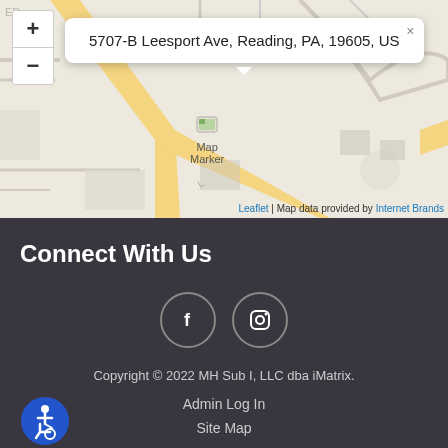[Figure (map): Leaflet map showing location at 5707-B Leesport Ave, Reading, PA, 19605, US with zoom controls, address popup tooltip, and map marker. Attribution: Leaflet | Map data provided by Internet Brands.]
Connect With Us
[Figure (infographic): Two circular social media icons: Facebook (f) and Instagram (camera) with circular borders on dark background.]
Copyright © 2022 MH Sub I, LLC dba iMatrix.
Admin Log In
Site Map
[Figure (logo): Blue circular accessibility icon showing a person in a wheelchair]